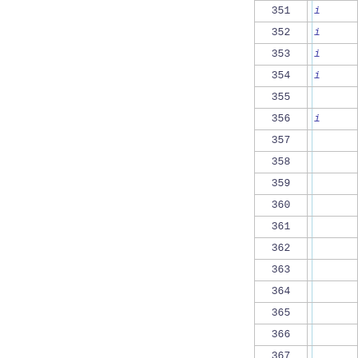|  |  |
| --- | --- |
| 351 | i |
| 352 | i |
| 353 | i |
| 354 | i |
| 355 |  |
| 356 | i |
| 357 |  |
| 358 |  |
| 359 |  |
| 360 |  |
| 361 |  |
| 362 |  |
| 363 |  |
| 364 |  |
| 365 |  |
| 366 |  |
| 367 |  |
| 368 |  |
| 369 | } |
| 370 |  |
| 371 |  |